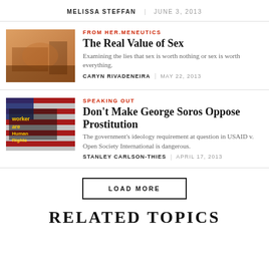MELISSA STEFFAN | JUNE 3, 2013
[Figure (photo): Bedroom scene with warm orange lighting]
FROM HER.MENEUTICS
The Real Value of Sex
Examining the lies that sex is worth nothing or sex is worth everything.
CARYN RIVADENEIRA | MAY 22, 2013
[Figure (photo): Protest sign reading 'Worker Rights are Human Rights' on American flag background]
SPEAKING OUT
Don't Make George Soros Oppose Prostitution
The government's ideology requirement at question in USAID v. Open Society International is dangerous.
STANLEY CARLSON-THIES | APRIL 17, 2013
LOAD MORE
RELATED TOPICS